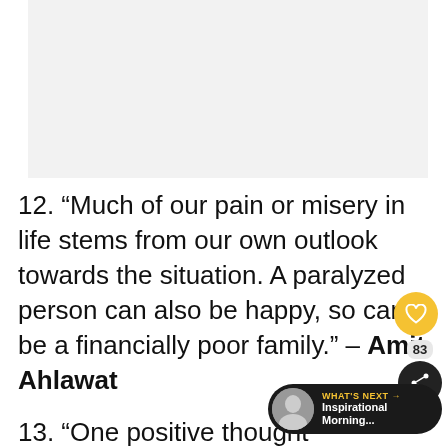[Figure (photo): Light gray placeholder image at top of page]
12. “Much of our pain or misery in life stems from our own outlook towards the situation. A paralyzed person can also be happy, so can be a financially poor family.” – Amit Ahlawat
13. “One positive thought